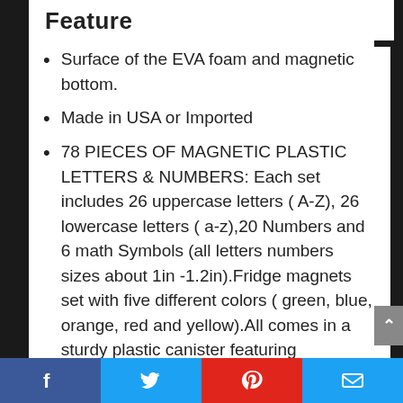Feature
Surface of the EVA foam and magnetic bottom.
Made in USA or Imported
78 PIECES OF MAGNETIC PLASTIC LETTERS & NUMBERS: Each set includes 26 uppercase letters ( A-Z), 26 lowercase letters ( a-z),20 Numbers and 6 math Symbols (all letters numbers sizes about 1in -1.2in).Fridge magnets set with five different colors ( green, blue, orange, red and yellow).All comes in a sturdy plastic canister featuring
Facebook  Twitter  Pinterest  Email